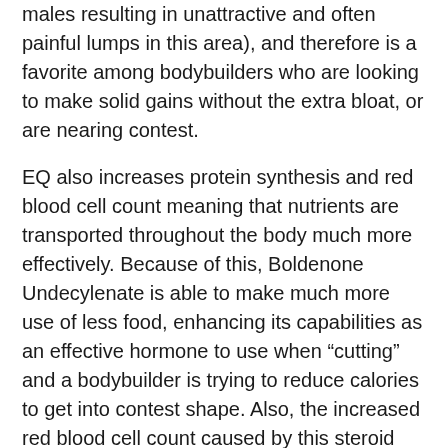males resulting in unattractive and often painful lumps in this area), and therefore is a favorite among bodybuilders who are looking to make solid gains without the extra bloat, or are nearing contest.
EQ also increases protein synthesis and red blood cell count meaning that nutrients are transported throughout the body much more effectively. Because of this, Boldenone Undecylenate is able to make much more use of less food, enhancing its capabilities as an effective hormone to use when “cutting” and a bodybuilder is trying to reduce calories to get into contest shape. Also, the increased red blood cell count caused by this steroid also increases oxygen transportation throughout the body, thus giving athletes and bodybuilders much more endurance and the capability to endure cardio sessions for much longer periods of time, which obviously makes this drug even more popular among those looking to shed bodyfat.
Users of EQ also report a dramatic increase in vascularity, which can also be attributed to the oxidizing benefits of Boldenone